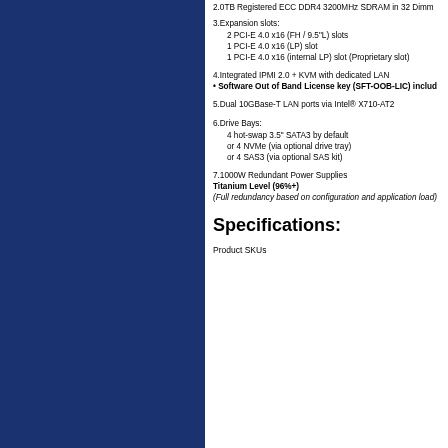2.0TB Registered ECC DDR4 3200MHz SDRAM in 32 DIMM
3.Expansion slots:
  2 PCI-E 4.0 x16 (FH / 9.5"L) slots
  1 PCI-E 4.0 x16 (LP) slot
  1 PCI-E 4.0 x16 (internal LP) slot (Proprietary slot)
4.Integrated IPMI 2.0 + KVM with dedicated LAN
• Software Out of Band License key (SFT-OOB-LIC) includ
5.Dual 10GBase-T LAN ports via Intel® X710-AT2
6.Drive Bays:
  4 hot-swap 3.5" SATA3 by default
  or 4 NVMe (via optional drive tray)
  or 4 SAS3 (via optional SAS kit)
7.1000W Redundant Power Supplies
Titanium Level (96%+)
(Full redundancy based on configuration and application load)
Specifications:
Product SKUs